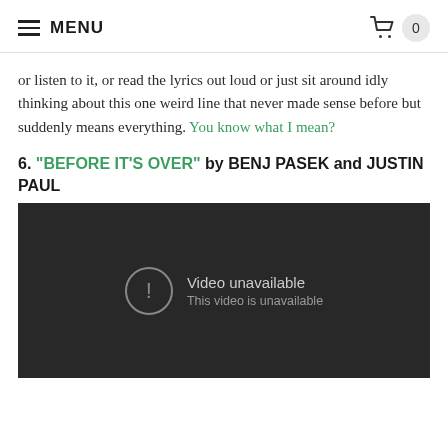MENU  0
or listen to it, or read the lyrics out loud or just sit around idly thinking about this one weird line that never made sense before but suddenly means everything. You know what I mean?
6. “BEFORE IT’S OVER” by BENJ PASEK and JUSTIN PAUL
[Figure (screenshot): Embedded video player showing ‘Video unavailable’ error message with exclamation icon and text ‘This video is unavailable’ on a dark background.]